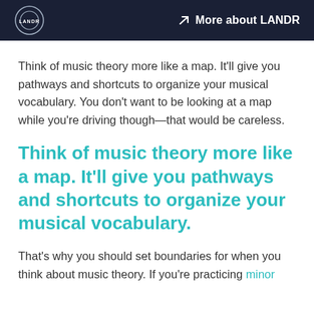LANDR | More about LANDR
Think of music theory more like a map. It’ll give you pathways and shortcuts to organize your musical vocabulary. You don’t want to be looking at a map while you’re driving though—that would be careless.
Think of music theory more like a map. It’ll give you pathways and shortcuts to organize your musical vocabulary.
That’s why you should set boundaries for when you think about music theory. If you’re practicing minor